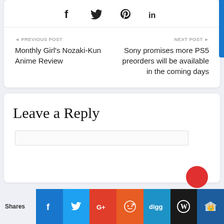[Figure (other): Social share icons bar: Facebook, Twitter, Pinterest, LinkedIn]
◄ PREVIOUS POST
Monthly Girl's Nozaki-Kun Anime Review
NEXT POST ►
Sony promises more PS5 preorders will be available in the coming days
Leave a Reply
[Figure (other): Social share buttons bar at bottom: Shares label, Facebook, Twitter, Google+, Reddit, Digg, WordPress, Crown icon]